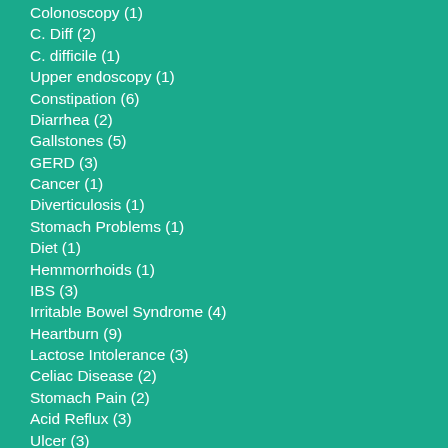Colonoscopy (1)
C. Diff (2)
C. difficile (1)
Upper endoscopy (1)
Constipation (6)
Diarrhea (2)
Gallstones (5)
GERD (3)
Cancer (1)
Diverticulosis (1)
Stomach Problems (1)
Diet (1)
Hemmorrhoids (1)
IBS (3)
Irritable Bowel Syndrome (4)
Heartburn (9)
Lactose Intolerance (3)
Celiac Disease (2)
Stomach Pain (2)
Acid Reflux (3)
Ulcer (3)
Colorectal Cancer (1)
Screening Colonoscopy (1)